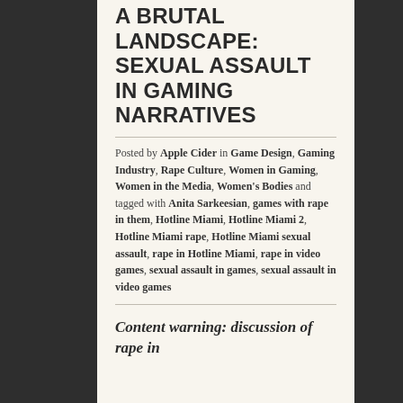A BRUTAL LANDSCAPE: SEXUAL ASSAULT IN GAMING NARRATIVES
Posted by Apple Cider in Game Design, Gaming Industry, Rape Culture, Women in Gaming, Women in the Media, Women's Bodies and tagged with Anita Sarkeesian, games with rape in them, Hotline Miami, Hotline Miami 2, Hotline Miami rape, Hotline Miami sexual assault, rape in Hotline Miami, rape in video games, sexual assault in games, sexual assault in video games
Content warning: discussion of rape in